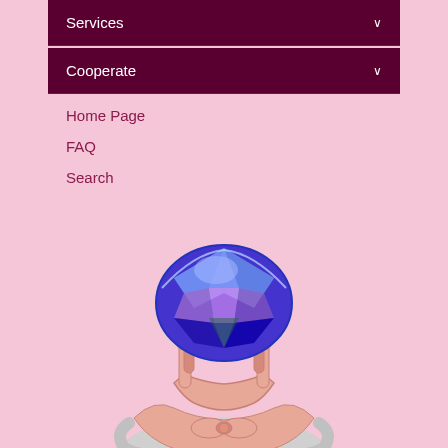Services
Cooperate
Home Page
FAQ
Search
[Figure (illustration): Close-up illustration of a diamond engagement ring with a large blue sapphire gemstone set in a rose gold and silver prong setting, shown from above against a pink background]